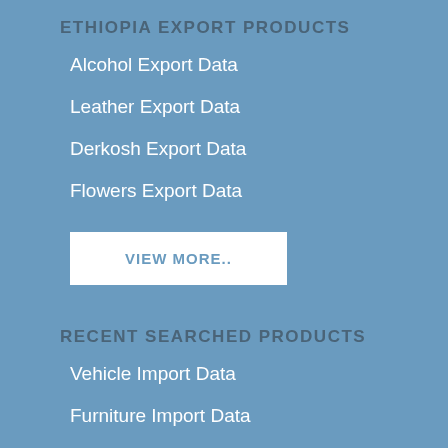ETHIOPIA EXPORT PRODUCTS
Alcohol Export Data
Leather Export Data
Derkosh Export Data
Flowers Export Data
VIEW MORE..
RECENT SEARCHED PRODUCTS
Vehicle Import Data
Furniture Import Data
Note Book Import Data
Oxides Import Data